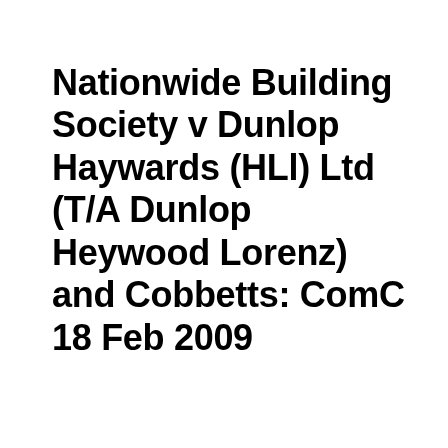Nationwide Building Society v Dunlop Haywards (HLl) Ltd (T/A Dunlop Heywood Lorenz) and Cobbetts: ComC 18 Feb 2009